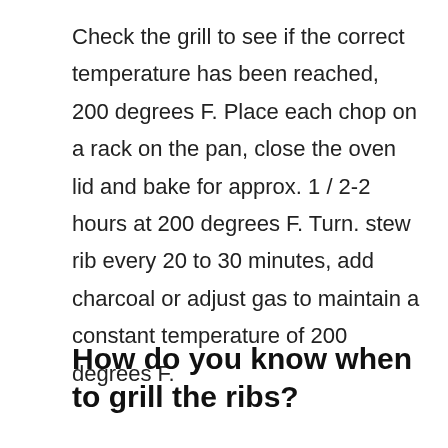Check the grill to see if the correct temperature has been reached, 200 degrees F. Place each chop on a rack on the pan, close the oven lid and bake for approx. 1 / 2-2 hours at 200 degrees F. Turn. stew rib every 20 to 30 minutes, add charcoal or adjust gas to maintain a constant temperature of 200 degrees F.
How do you know when to grill the ribs?